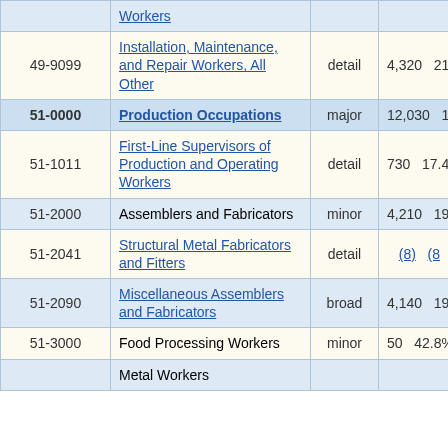| Code | Occupation | Level | Employment | Percent |
| --- | --- | --- | --- | --- |
|  | Workers |  |  |  |
| 49-9099 | Installation, Maintenance, and Repair Workers, All Other | detail | 4,320 | 21.6% |
| 51-0000 | Production Occupations | major | 12,030 | 10.7% |
| 51-1011 | First-Line Supervisors of Production and Operating Workers | detail | 730 | 17.4% |
| 51-2000 | Assemblers and Fabricators | minor | 4,210 | 19.0% |
| 51-2041 | Structural Metal Fabricators and Fitters | detail | (8) | (8) |
| 51-2090 | Miscellaneous Assemblers and Fabricators | broad | 4,140 | 19.3% |
| 51-3000 | Food Processing Workers | minor | 50 | 42.8% |
|  | Metal Workers |  |  |  |